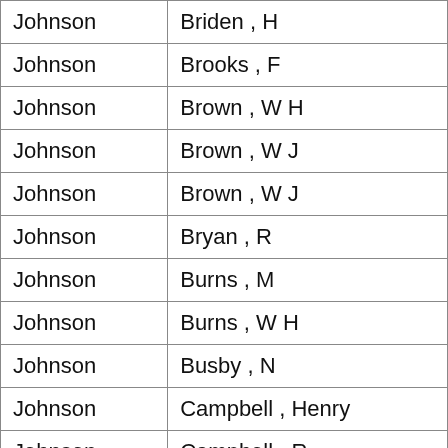| County | Name |
| --- | --- |
| Johnson | Briden , H |
| Johnson | Brooks , F |
| Johnson | Brown , W H |
| Johnson | Brown , W J |
| Johnson | Brown , W J |
| Johnson | Bryan , R |
| Johnson | Burns , M |
| Johnson | Burns , W H |
| Johnson | Busby , N |
| Johnson | Campbell , Henry |
| Johnson | Campbell , R |
| Johnson | Campbell , Wesley |
| Johnson | Carnes , W A |
| Johnson | Carter , J W |
| Johnson | Cason , L J |
| Johnson | Cason , S |
| Johnson | Cason , W G |